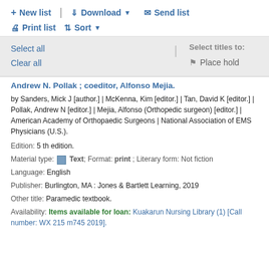+ New list | Download ▼ ✉ Send list | 🖨 Print list ⇅ Sort ▼
Select all | Select titles to: 🔖 Place hold
Clear all
Andrew N. Pollak ; coeditor, Alfonso Mejia.
by Sanders, Mick J [author.] | McKenna, Kim [editor.] | Tan, David K [editor.] | Pollak, Andrew N [editor.] | Mejia, Alfonso (Orthopedic surgeon) [editor.] | American Academy of Orthopaedic Surgeons | National Association of EMS Physicians (U.S.).
Edition: 5 th edition.
Material type: Text; Format: print ; Literary form: Not fiction
Language: English
Publisher: Burlington, MA : Jones & Bartlett Learning, 2019
Other title: Paramedic textbook.
Availability: Items available for loan: Kuakarun Nursing Library (1) [Call number: WX 215 m745 2019].